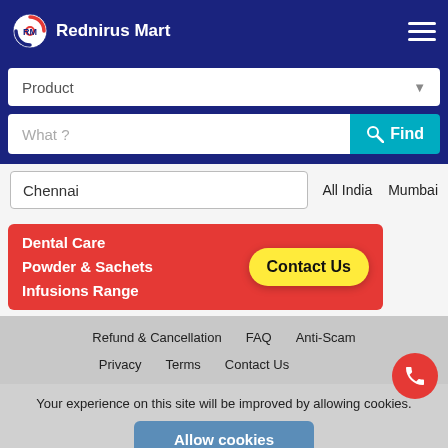Rednirus Mart
Product
What ?
Chennai  All India  Mumbai
[Figure (infographic): Red banner advertisement showing: Dental Care Powder & Sachets Infusions Range, with a yellow Contact Us button]
Refund & Cancellation  FAQ  Anti-Scam  Privacy  Terms  Contact Us
Your experience on this site will be improved by allowing cookies.
Allow cookies